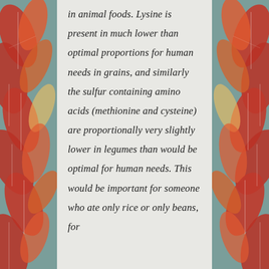in animal foods. Lysine is present in much lower than optimal proportions for human needs in grains, and similarly the sulfur containing amino acids (methionine and cysteine) are proportionally very slightly lower in legumes than would be optimal for human needs. This would be important for someone who ate only rice or only beans, for